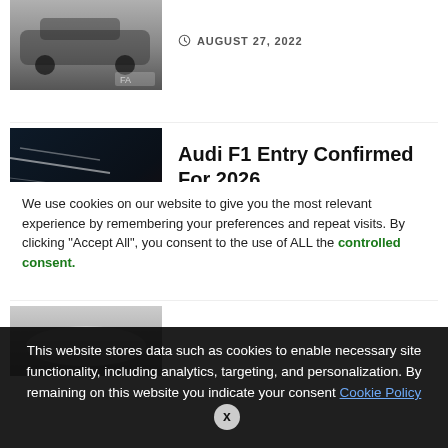[Figure (photo): Partial top view of a car (dark colored), thumbnail cropped at top]
AUGUST 27, 2022
[Figure (photo): Red and black Audi F1 racing car on dark background with light streaks]
Audi F1 Entry Confirmed For 2026
AUGUST 26, 2022
[Figure (photo): Partial image, blurred/misty scene, cropped at bottom of visible area]
We use cookies on our website to give you the most relevant experience by remembering your preferences and repeat visits. By clicking “Accept All”, you consent to the use of ALL the controlled consent.
This website stores data such as cookies to enable necessary site functionality, including analytics, targeting, and personalization. By remaining on this website you indicate your consent Cookie Policy